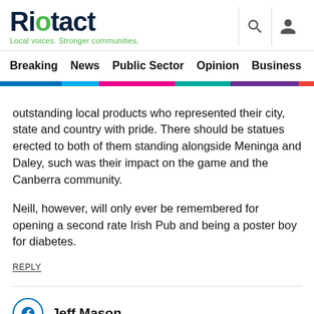Riotact — Local voices. Stronger communities.
Breaking | News | Public Sector | Opinion | Business | R
outstanding local products who represented their city, state and country with pride. There should be statues erected to both of them standing alongside Meninga and Daley, such was their impact on the game and the Canberra community.
Neill, however, will only ever be remembered for opening a second rate Irish Pub and being a poster boy for diabetes.
REPLY
Jeff Mason